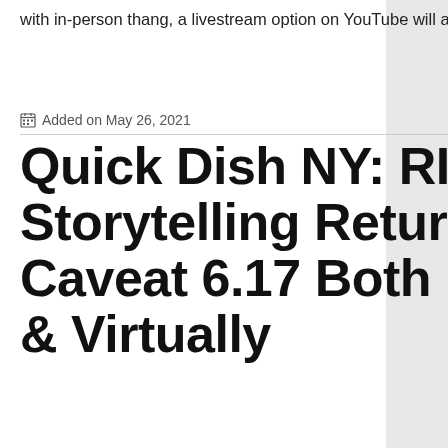with in-person thang, a livestream option on YouTube will also be […]
Added on May 26, 2021   CakeMama
Quick Dish NY: RISK! Storytelling Returns to Caveat 6.17 Both In-Person & Virtually
[Figure (illustration): Illustrated poster showing a person with mouth open, text reading 'LIVE IN-PERSON AT CAVEAT IN NYC & ONLINE JUNE 17 @ 7PM ET!' and large stylized text 'RISK!']